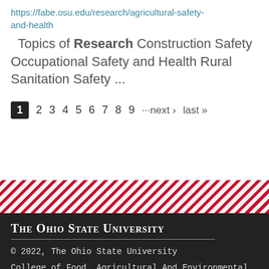https://fabe.osu.edu/research/agricultural-safety-and-health
Topics of Research Construction Safety Occupational Safety and Health Rural Sanitation Safety ...
1 2 3 4 5 6 7 8 9 ···next › last »
[Figure (other): Diagonal red and white stripe decorative banner]
The Ohio State University
© 2022, The Ohio State University
College of Food, Agricultural And Environmental Sciences, Center For Cooperatives